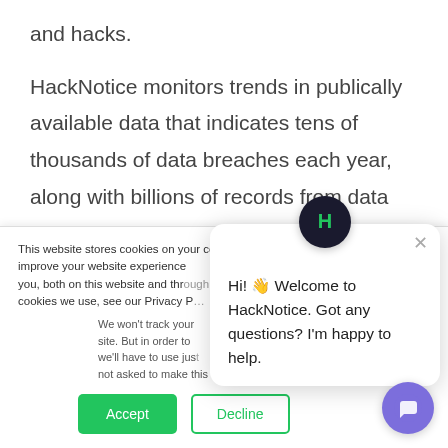and hacks.
HackNotice monitors trends in publically available data that indicates tens of thousands of data breaches each year, along with billions of records from data leaks each year. On behalf of our clients, HackNotice workings to monitor for hacks that trail to lower node surety and digital identities that have been
This website stores cookies on your computer. These are used to improve your website experience you, both on this website and through cookies we use, see our Privacy P
We won't track your site. But in order to we'll have to use just not asked to make this choice again.
Hi! 👋 Welcome to HackNotice. Got any questions? I'm happy to help.
Accept
Decline